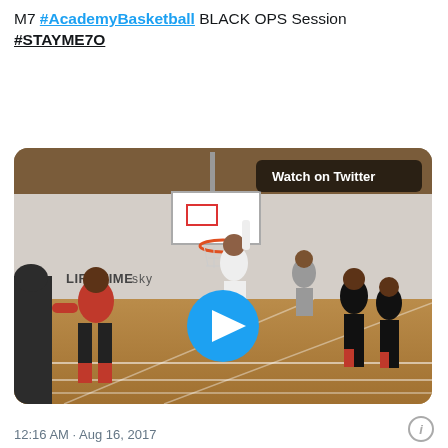M7 #AcademyBasketball BLACK OPS Session
#STAYME7O
[Figure (screenshot): Twitter embedded video thumbnail showing basketball players on an indoor court at a Life Time gym facility. A blue play button is overlaid in the center. A 'Watch on Twitter' badge appears in the top right corner of the video.]
12:16 AM · Aug 16, 2017